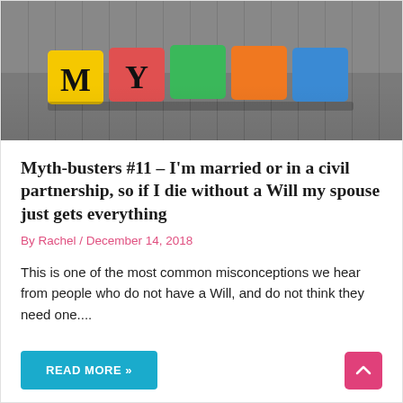[Figure (photo): Colorful wooden letter blocks spelling MYTH on a grey wooden surface. Visible letters M and Y on yellow and red blocks, with green, orange, and other colored blocks alongside.]
Myth-busters #11 – I'm married or in a civil partnership, so if I die without a Will my spouse just gets everything
By Rachel / December 14, 2018
This is one of the most common misconceptions we hear from people who do not have a Will, and do not think they need one....
READ MORE »